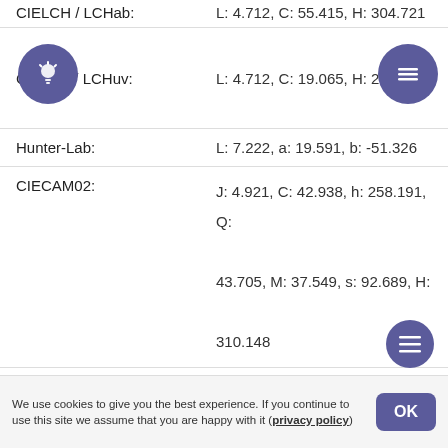| Color Space | Values |
| --- | --- |
| CIELCH / LCHab: | L: 4.712, C: 55.415, H: 304.721 |
| CIELUV / LCHuv: | L: 4.712, C: 19.065, H: 265.873 |
| Hunter-Lab: | L: 7.222, a: 19.591, b: -51.326 |
| CIECAM02: | J: 4.921, C: 42.938, h: 258.191, Q: 43.705, M: 37.549, s: 92.689, H: 310.148 |
| OSA-UCS: | □□□: -11.082, □□: -8.492, □□□: 2.794 |
| LMS: | L: 0.064, M: 0.010, S: 6.765 |
| YCbCr: | Y: 23.448, Cb: 161.364, Cr: 122.604 |
| YCoCg: | Y: 19.000, Cg: -19.000, Co: -19.000 |
| YDbDr: | Y: 8.664, Db: 101.308, Dr: 16.492 |
| YPbPr: | Y: 5.472, Pb: 38.000, Pr: -3.496 |
We use cookies to give you the best experience. If you continue to use this site we assume that you are happy with it (privacy policy)